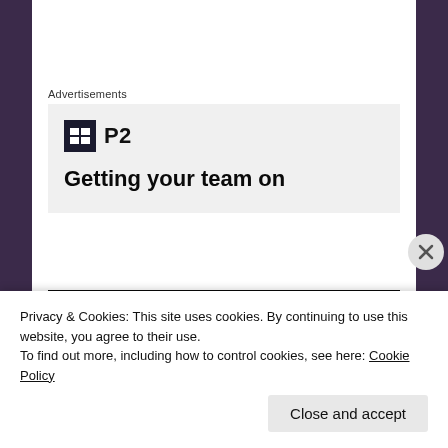Advertisements
[Figure (logo): P2 logo with dark square icon containing grid symbol and bold 'P2' text]
Getting your team on
[Figure (photo): Dark nighttime photo showing lights in the dark, likely street lamps or car lights]
Privacy & Cookies: This site uses cookies. By continuing to use this website, you agree to their use.
To find out more, including how to control cookies, see here: Cookie Policy
Close and accept